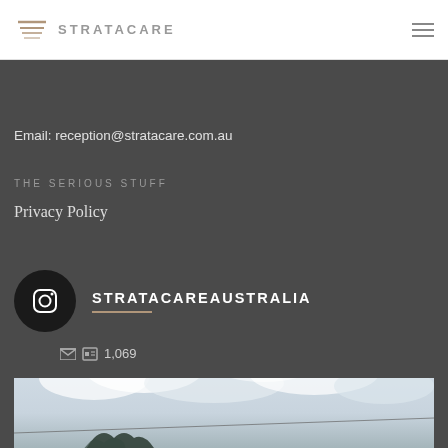STRATACARE
Email: reception@stratacare.com.au
THE SERIOUS STUFF
Privacy Policy
[Figure (logo): Instagram profile block for STRATACAREAUSTRALIA with circular Instagram icon, username in bold caps, decorative underline, and post count of 1,069]
[Figure (photo): Outdoor photo showing cloudy grey-white sky with tree branches and utility lines visible at the bottom]